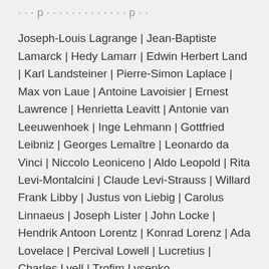Joseph-Louis Lagrange | Jean-Baptiste Lamarck | Hedy Lamarr | Edwin Herbert Land | Karl Landsteiner | Pierre-Simon Laplace | Max von Laue | Antoine Lavoisier | Ernest Lawrence | Henrietta Leavitt | Antonie van Leeuwenhoek | Inge Lehmann | Gottfried Leibniz | Georges Lemaître | Leonardo da Vinci | Niccolo Leoniceno | Aldo Leopold | Rita Levi-Montalcini | Claude Levi-Strauss | Willard Frank Libby | Justus von Liebig | Carolus Linnaeus | Joseph Lister | John Locke | Hendrik Antoon Lorentz | Konrad Lorenz | Ada Lovelace | Percival Lowell | Lucretius | Charles Lyell | Trofim Lysenko
Ernst Mach | Marcello Malpighi | Jane Marcet |